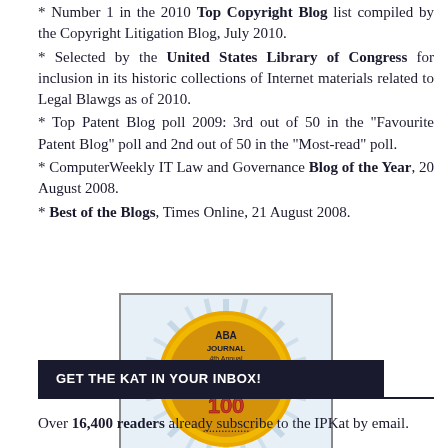* Number 1 in the 2010 Top Copyright Blog list compiled by the Copyright Litigation Blog, July 2010.
* Selected by the United States Library of Congress for inclusion in its historic collections of Internet materials related to Legal Blawgs as of 2010.
* Top Patent Blog poll 2009: 3rd out of 50 in the "Favourite Patent Blog" poll and 2nd out of 50 in the "Most-read" poll.
* ComputerWeekly IT Law and Governance Blog of the Year, 20 August 2008.
* Best of the Blogs, Times Online, 21 August 2008.
[Figure (logo): ABA Journal 4th Annual Blawg 100 Honoree badge with gold medallion on blue starburst background and red Honoree banner]
GET THE KAT IN YOUR INBOX!
Over 16,400 readers already subscribe to the IPKat by email.